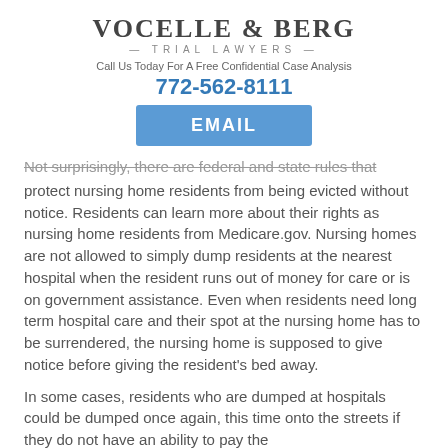[Figure (logo): Vocelle & Berg Trial Lawyers logo with firm name and tagline]
Call Us Today For A Free Confidential Case Analysis
772-562-8111
EMAIL
Not surprisingly, there are federal and state rules that protect nursing home residents from being evicted without notice. Residents can learn more about their rights as nursing home residents from Medicare.gov. Nursing homes are not allowed to simply dump residents at the nearest hospital when the resident runs out of money for care or is on government assistance. Even when residents need long term hospital care and their spot at the nursing home has to be surrendered, the nursing home is supposed to give notice before giving the resident's bed away.
In some cases, residents who are dumped at hospitals could be dumped once again, this time onto the streets if they do not have an ability to pay the